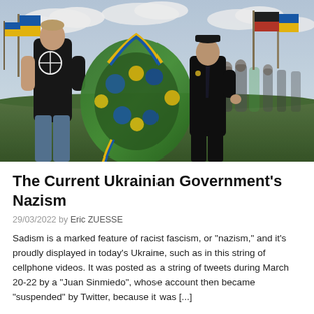[Figure (photo): Outdoor photograph showing a young man in a black t-shirt with a white pride graphic holding a flower wreath with blue and yellow ribbons, alongside an elderly man in black uniform and cap, with Ukrainian and black-red flags visible in the background against a cloudy sky.]
The Current Ukrainian Government's Nazism
29/03/2022 by Eric ZUESSE
Sadism is a marked feature of racist fascism, or "nazism," and it's proudly displayed in today's Ukraine, such as in this string of cellphone videos. It was posted as a string of tweets during March 20-22 by a "Juan Sinmiedo", whose account then became "suspended" by Twitter, because it was [...]